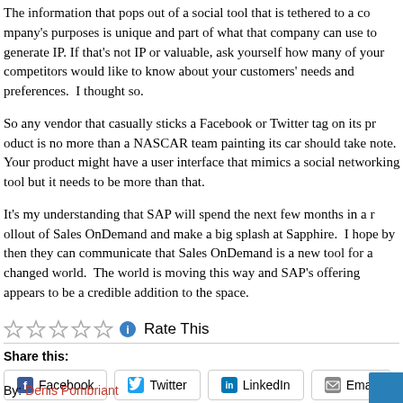The information that pops out of a social tool that is tethered to a company's purposes is unique and part of what that company can use to generate IP. If that's not IP or valuable, ask yourself how many of your competitors would like to know about your customers' needs and preferences.  I thought so.
So any vendor that casually sticks a Facebook or Twitter tag on its product is no more than a NASCAR team painting its car should take note.  Your product might have a user interface that mimics a social networking tool but it needs to be more than that.
It's my understanding that SAP will spend the next few months in a rollout of Sales OnDemand and make a big splash at Sapphire.  I hope by then they can communicate that Sales OnDemand is a new tool for a changed world.  The world is moving this way and SAP's offering appears to be a credible addition to the space.
[Figure (other): Five-star rating widget (all empty stars) followed by an info icon and Rate This text]
Share this:
[Figure (infographic): Share buttons row: Facebook, Twitter, LinkedIn, Email, More]
By: Denis Pombriant